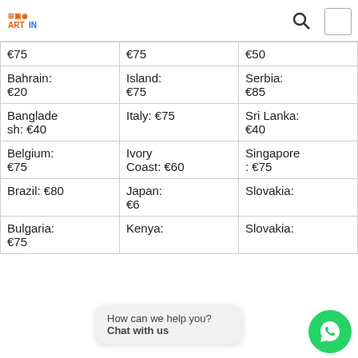ARTIM logo, search icon, menu
| Column 1 | Column 2 | Column 3 |
| --- | --- | --- |
| €75 | €75 | €50 |
| Bahrain: €20 | Island: €75 | Serbia: €85 |
| Bangladesh: €40 | Italy: €75 | Sri Lanka: €40 |
| Belgium: €75 | Ivory Coast: €60 | Singapore: €75 |
| Brazil: €80 | Japan: €60 | Slovakia: |
| Bulgaria: €75 | Kenya: | Slovakia: |